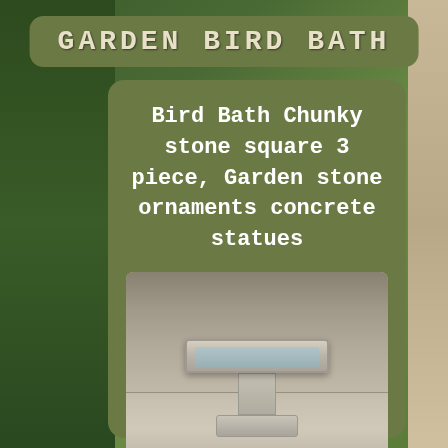GARDEN BIRD BATH
Bird Bath Chunky stone square 3 piece, Garden stone ornaments concrete statues
[Figure (photo): A chunky square stone bird bath with a wide flat basin on a square pedestal base, surrounded by other stone garden ornaments and statues in the background.]